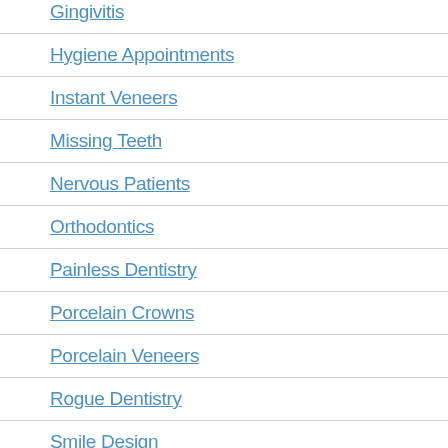Gingivitis
Hygiene Appointments
Instant Veneers
Missing Teeth
Nervous Patients
Orthodontics
Painless Dentistry
Porcelain Crowns
Porcelain Veneers
Rogue Dentistry
Smile Design
Special Offers